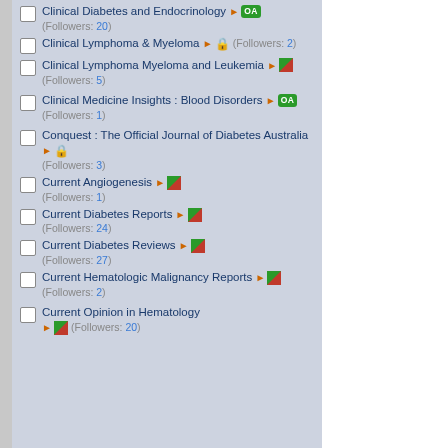Clinical Diabetes and Endocrinology (Followers: 20) [OA]
Clinical Lymphoma & Myeloma (Followers: 2)
Clinical Lymphoma Myeloma and Leukemia (Followers: 5)
Clinical Medicine Insights : Blood Disorders (Followers: 1) [OA]
Conquest : The Official Journal of Diabetes Australia (Followers: 3)
Current Angiogenesis (Followers: 1)
Current Diabetes Reports (Followers: 24)
Current Diabetes Reviews (Followers: 27)
Current Hematologic Malignancy Reports (Followers: 2)
Current Opinion in Hematology (Followers: 20)